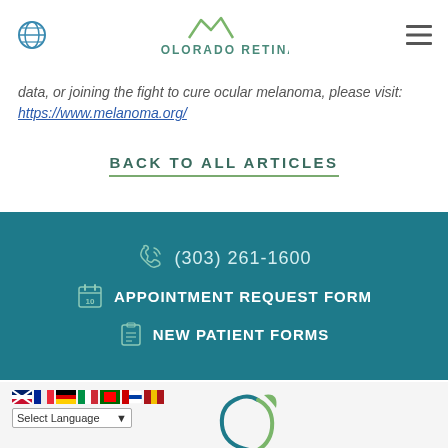COLORADO RETINA
data, or joining the fight to cure ocular melanoma, please visit: https://www.melanoma.org/
BACK TO ALL ARTICLES
(303) 261-1600  APPOINTMENT REQUEST FORM  NEW PATIENT FORMS
[Figure (logo): Colorado Retina circular logo at bottom of page]
Select Language